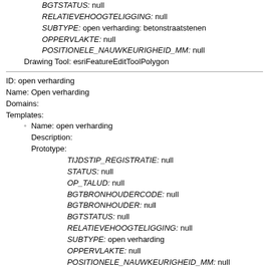BGTSTATUS: null
RELATIEVEHOOGTELIGGING: null
SUBTYPE: open verharding: betonstraatstenen
OPPERVLAKTE: null
POSITIONELE_NAUWKEURIGHEID_MM: null
Drawing Tool: esriFeatureEditToolPolygon
ID: open verharding
Name: Open verharding
Domains:
Templates:
  Name: open verharding
  Description:
  Prototype:
    TIJDSTIP_REGISTRATIE: null
    STATUS: null
    OP_TALUD: null
    BGTBRONHOUDERCODE: null
    BGTBRONHOUDER: null
    BGTSTATUS: null
    RELATIEVEHOOGTELIGGING: null
    SUBTYPE: open verharding
    OPPERVLAKTE: null
    POSITIONELE_NAUWKEURIGHEID_MM: null
  Drawing Tool: esriFeatureEditToolPolygon
ID: open verharding: beton element